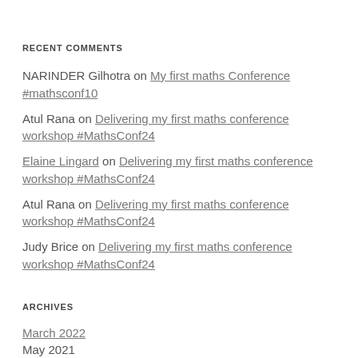RECENT COMMENTS
NARINDER Gilhotra on My first maths Conference #mathsconf10
Atul Rana on Delivering my first maths conference workshop #MathsConf24
Elaine Lingard on Delivering my first maths conference workshop #MathsConf24
Atul Rana on Delivering my first maths conference workshop #MathsConf24
Judy Brice on Delivering my first maths conference workshop #MathsConf24
ARCHIVES
March 2022
May 2021